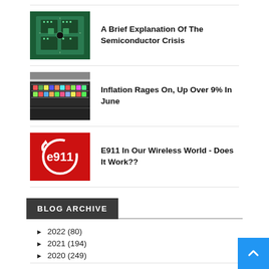[Figure (photo): Circuit board / semiconductor chip photo, green tones]
A Brief Explanation Of The Semiconductor Crisis
[Figure (photo): Grocery store refrigerated shelves with colorful food items]
Inflation Rages On, Up Over 9% In June
[Figure (logo): E911 logo: red square background with white circular arrow and 'e911' text]
E911 In Our Wireless World - Does It Work??
BLOG ARCHIVE
► 2022 (80)
► 2021 (194)
► 2020 (249)